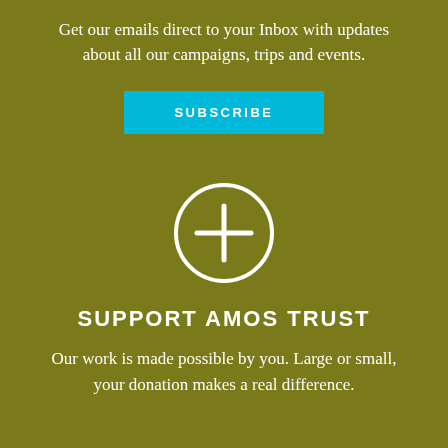Get our emails direct to your Inbox with updates about all our campaigns, trips and events.
[Figure (other): Cyan/teal SUBSCRIBE button]
[Figure (other): White circle with plus sign icon]
SUPPORT AMOS TRUST
Our work is made possible by you. Large or small, your donation makes a real difference.